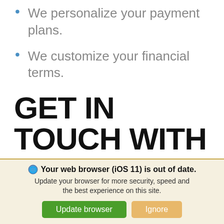We personalize your payment plans.
We customize your financial terms.
GET IN TOUCH WITH US TODAY!
Equify Finance is the energy finance firm that you need
Your web browser (iOS 11) is out of date. Update your browser for more security, speed and the best experience on this site.